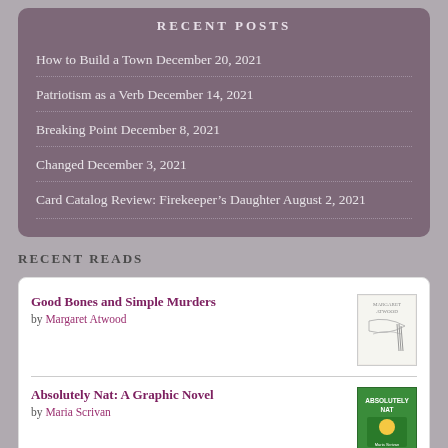RECENT POSTS
How to Build a Town December 20, 2021
Patriotism as a Verb December 14, 2021
Breaking Point December 8, 2021
Changed December 3, 2021
Card Catalog Review: Firekeeper's Daughter August 2, 2021
RECENT READS
Good Bones and Simple Murders by Margaret Atwood
Absolutely Nat: A Graphic Novel by Maria Scrivan